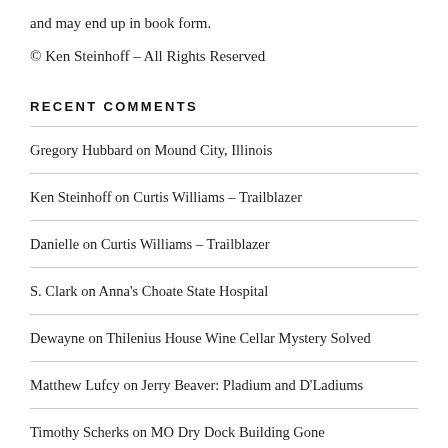and may end up in book form.
© Ken Steinhoff – All Rights Reserved
RECENT COMMENTS
Gregory Hubbard on Mound City, Illinois
Ken Steinhoff on Curtis Williams – Trailblazer
Danielle on Curtis Williams – Trailblazer
S. Clark on Anna's Choate State Hospital
Dewayne on Thilenius House Wine Cellar Mystery Solved
Matthew Lufcy on Jerry Beaver: Pladium and D'Ladiums
Timothy Scherks on MO Dry Dock Building Gone